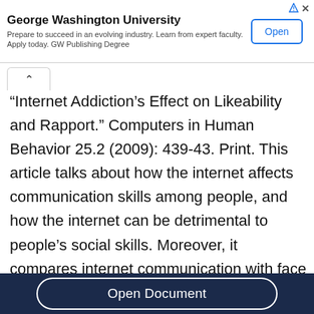[Figure (other): George Washington University advertisement banner with Open button]
“Internet Addiction’s Effect on Likeability and Rapport.” Computers in Human Behavior 25.2 (2009): 439-43. Print. This article talks about how the internet affects communication skills among people, and how the internet can be detrimental to people’s social skills. Moreover, it compares internet communication with face to face communication, and describes how face to face
Open Document